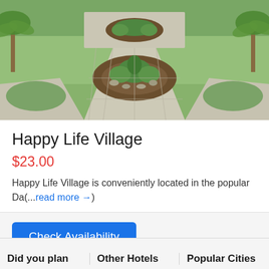[Figure (photo): Outdoor garden/landscaped pathway area with stone pavers, planted flower beds with rocks and greenery, palm trees, and grass lawn under bright sunlight.]
Happy Life Village
$23.00
Happy Life Village is conveniently located in the popular Da(...read more →)
Check Availability
Did you plan
Other Hotels
Popular Cities